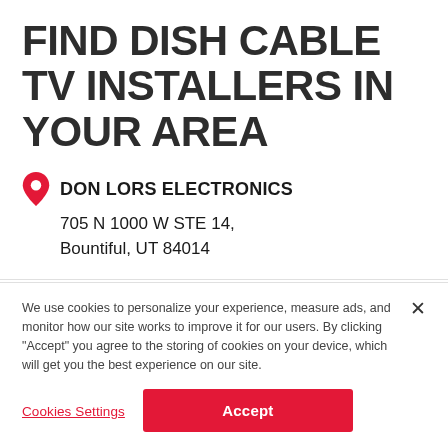FIND DISH CABLE TV INSTALLERS IN YOUR AREA
DON LORS ELECTRONICS
705 N 1000 W STE 14,
Bountiful, UT 84014
We use cookies to personalize your experience, measure ads, and monitor how our site works to improve it for our users. By clicking "Accept" you agree to the storing of cookies on your device, which will get you the best experience on our site.
Cookies Settings
Accept